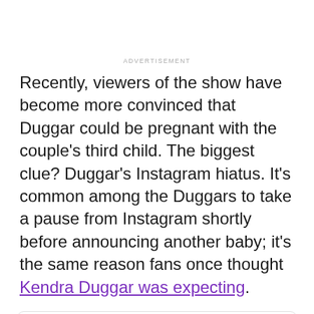ADVERTISEMENT
Recently, viewers of the show have become more convinced that Duggar could be pregnant with the couple's third child. The biggest clue? Duggar's Instagram hiatus. It's common among the Duggars to take a pause from Instagram shortly before announcing another baby; it's the same reason fans once thought Kendra Duggar was expecting.
[Figure (other): A card element with a circular avatar placeholder and two grey placeholder lines, suggesting a social media post or comment card.]